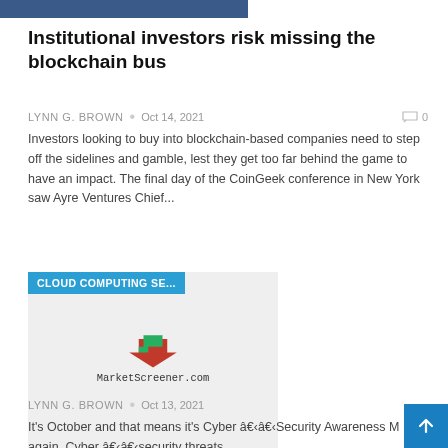[Figure (photo): Top portion of article image, dark blue/navy color, partially cropped]
Institutional investors risk missing the blockchain bus
LYNN G. BROWN • Oct 14, 2021   0
Investors looking to buy into blockchain-based companies need to step off the sidelines and gamble, lest they get too far behind the game to have an impact. The final day of the CoinGeek conference in New York saw Ayre Ventures Chief...
[Figure (logo): MarketScreener.com logo on grey background with CLOUD COMPUTING SE... badge overlay]
Cybersecurity threats: the blows follow one another
LYNN G. BROWN • Oct 13, 2021
It's October and that means it's Cyber â€‹â€‹Security Awareness M again. Cyber â€‹â€‹security threats...